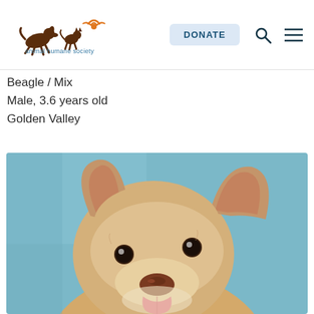[Figure (logo): Animal Humane Society logo with silhouettes of running animals (dog, cat, bird) in brown and orange, with text 'animal humane society' below in teal]
DONATE
Beagle / Mix
Male, 3.6 years old
Golden Valley
[Figure (photo): Close-up photo of a tan/cream colored dog with large upright ears, brown eyes, and a pink tongue visible. The background is light blue. The dog appears to be a Beagle mix.]